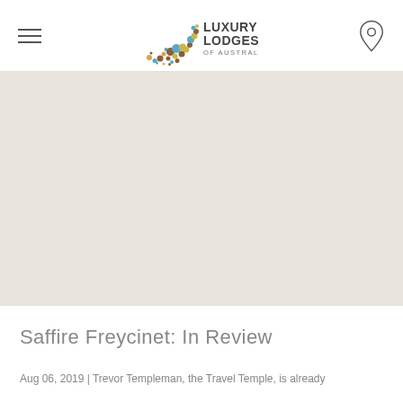[Figure (logo): Luxury Lodges of Australia logo — kangaroo made of colorful dots with text LUXURY LODGES OF AUSTRALIA]
[Figure (illustration): Large light beige/gray empty image area filling the middle section of the page]
Saffire Freycinet: In Review
Aug 06, 2019 | Trevor Templeman, the Travel Temple, is already